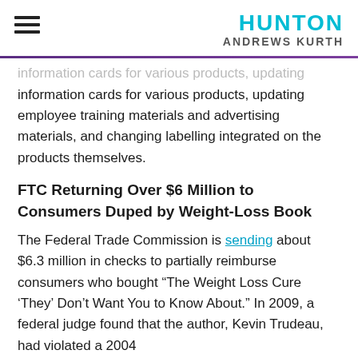HUNTON ANDREWS KURTH
information cards for various products, updating employee training materials and advertising materials, and changing labelling integrated on the products themselves.
FTC Returning Over $6 Million to Consumers Duped by Weight-Loss Book
The Federal Trade Commission is sending about $6.3 million in checks to partially reimburse consumers who bought “The Weight Loss Cure ‘They’ Don’t Want You to Know About.” In 2009, a federal judge found that the author, Kevin Trudeau, had violated a 2004